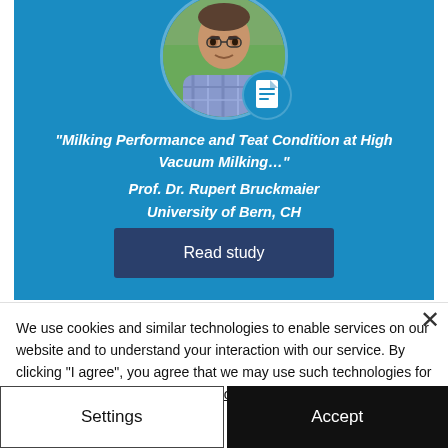[Figure (photo): Blue card with circular profile photo of Prof. Dr. Rupert Bruckmaier (man in plaid shirt outdoors), a document icon badge, quote text, author name, and a 'Read study' button]
We use cookies and similar technologies to enable services on our website and to understand your interaction with our service. By clicking "I agree", you agree that we may use such technologies for analysis purposes. See Privacy Policy
Settings
Accept